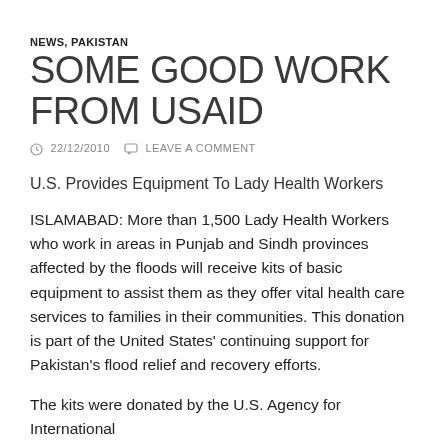NEWS, PAKISTAN
SOME GOOD WORK FROM USAID
22/12/2010   LEAVE A COMMENT
U.S. Provides Equipment To Lady Health Workers
ISLAMABAD: More than 1,500 Lady Health Workers who work in areas in Punjab and Sindh provinces affected by the floods will receive kits of basic equipment to assist them as they offer vital health care services to families in their communities. This donation is part of the United States' continuing support for Pakistan's flood relief and recovery efforts.
The kits were donated by the U.S. Agency for International